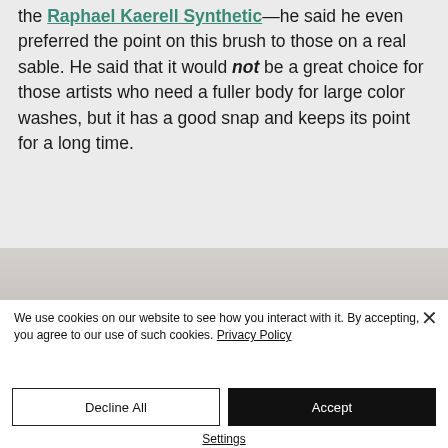the Raphael Kaerell Synthetic—he said he even preferred the point on this brush to those on a real sable. He said that it would not be a great choice for those artists who need a fuller body for large color washes, but it has a good snap and keeps its point for a long time.
[Figure (photo): A partial gray/silver image strip, likely the bottom of an art brush photo]
We use cookies on our website to see how you interact with it. By accepting, you agree to our use of such cookies. Privacy Policy
Decline All
Accept
Settings